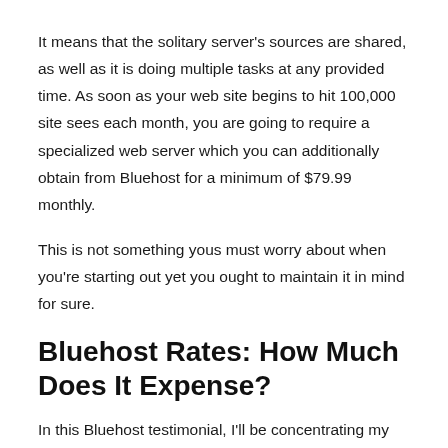It means that the solitary server's sources are shared, as well as it is doing multiple tasks at any provided time. As soon as your web site begins to hit 100,000 site sees each month, you are going to require a specialized web server which you can additionally obtain from Bluehost for a minimum of $79.99 monthly.
This is not something yous must worry about when you're starting out yet you ought to maintain it in mind for sure.
Bluehost Rates: How Much Does It Expense?
In this Bluehost testimonial, I'll be concentrating my interest mostly on the Bluehost WordPress Hosting plans, because it's one of the most prominent one, and most likely the one that you're searching for which will certainly match you the best (unless you're a massive brand name, business or website).